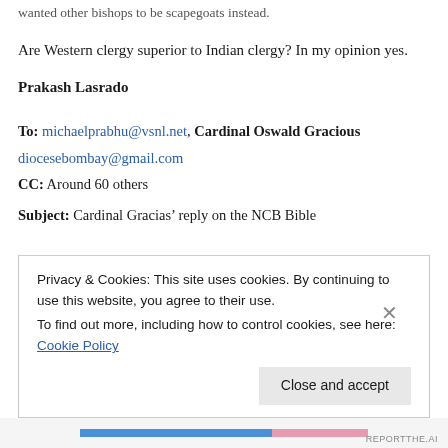wanted other bishops to be scapegoats instead.
Are Western clergy superior to Indian clergy? In my opinion yes.
Prakash Lasrado
To: michaelprabhu@vsnl.net, Cardinal Oswald Gracious
diocesebombay@gmail.com
CC: Around 60 others
Subject: Cardinal Gracias’ reply on the NCB Bible
Privacy & Cookies: This site uses cookies. By continuing to use this website, you agree to their use.
To find out more, including how to control cookies, see here: Cookie Policy
Close and accept